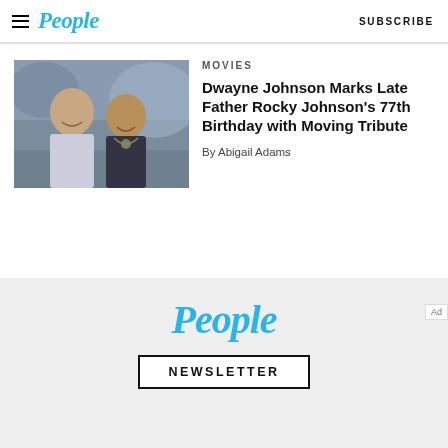People  SUBSCRIBE
MOVIES
Dwayne Johnson Marks Late Father Rocky Johnson's 77th Birthday with Moving Tribute
By Abigail Adams
[Figure (photo): Photo of Dwayne Johnson and Rocky Johnson smiling together outdoors]
[Figure (logo): People magazine logo in blue italic text]
NEWSLETTER